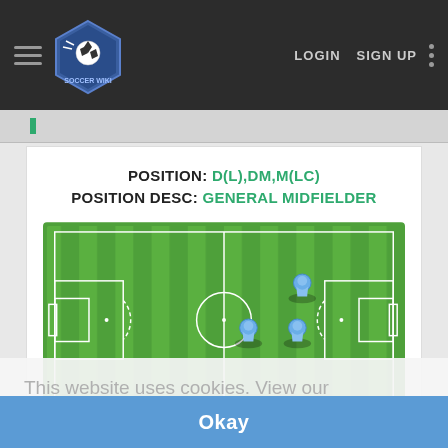[Figure (screenshot): Soccer Wiki website navigation bar with hamburger menu, hexagonal soccer wiki logo, LOGIN and SIGN UP links, and vertical dots menu]
POSITION: D(L),DM,M(LC)
POSITION DESC: GENERAL MIDFIELDER
[Figure (illustration): Top-down view of a soccer/football pitch with green stripes, white markings showing goal area and center circle, and 3 blue player icons positioned in the right side of the field representing the positions D(L), DM, M(LC)]
This website uses cookies. View our cookie policy. Learn More
Okay